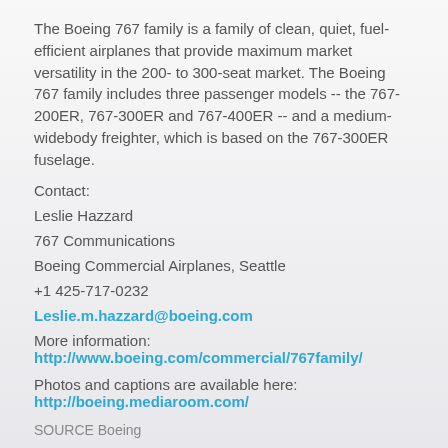The Boeing 767 family is a family of clean, quiet, fuel-efficient airplanes that provide maximum market versatility in the 200- to 300-seat market. The Boeing 767 family includes three passenger models -- the 767-200ER, 767-300ER and 767-400ER -- and a medium-widebody freighter, which is based on the 767-300ER fuselage.
Contact:
Leslie Hazzard
767 Communications
Boeing Commercial Airplanes, Seattle
+1 425-717-0232
Leslie.m.hazzard@boeing.com
More information: http://www.boeing.com/commercial/767family/
Photos and captions are available here: http://boeing.mediaroom.com/
SOURCE Boeing